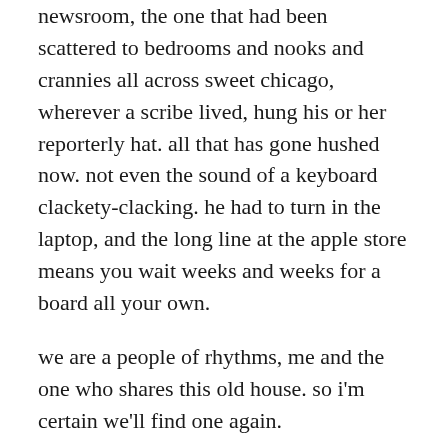newsroom, the one that had been scattered to bedrooms and nooks and crannies all across sweet chicago, wherever a scribe lived, hung his or her reporterly hat. all that has gone hushed now. not even the sound of a keyboard clackety-clacking. he had to turn in the laptop, and the long line at the apple store means you wait weeks and weeks for a board all your own.
we are a people of rhythms, me and the one who shares this old house. so i'm certain we'll find one again.
i sometimes wonder how we got here, to this moment, so soon. sometimes look in the mirror to see if i can find the self i've known since she was so little, had a gap in the space between two front teeth, just enough of a space to wiggle the tip of my tongue through. the gap is long gone now, and so too plenty of other parts, lost along the way.
the losses are wins some of the time, though sometimes…